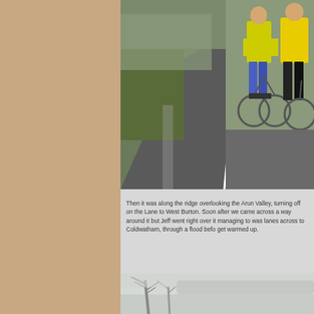[Figure (photo): Two cyclists in high-visibility jackets standing with bicycles on a winding asphalt road with trees and hedgerows in the background.]
Then it was along the ridge overlooking the Arun Valley, turning off on the Lane to West Burton. Soon after we came across a flood, some went a way around it but Jeff went right over it managing to stay dry. Then it was lanes across to Coldwatham, through a flood before the café where we stopped to get warmed up.
[Figure (photo): A misty winter landscape with bare trees in fog.]